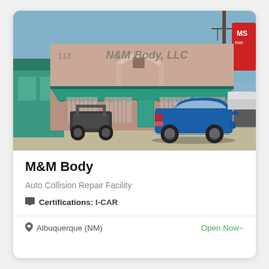[Figure (photo): Exterior street-view photo of M&M Body LLC auto body shop. A single-story building with a teal/turquoise awning, pink stucco facade with decorative arch above the entrance, barred windows, and a blue Ford Mustang parked in the lot. An ATV/side-by-side vehicle is also visible on the left side of the lot.]
M&M Body
Auto Collision Repair Facility
Certifications: I-CAR
Albuquerque (NM)
Open Now~